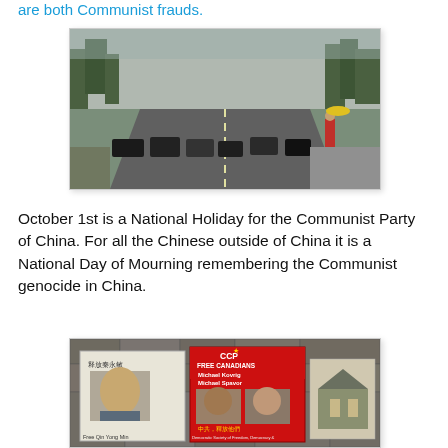are both Communist frauds.
[Figure (photo): Street scene with a line of cars along a road with trees on both sides; a person in red clothing stands on the right sidewalk holding an umbrella.]
October 1st is a National Holiday for the Communist Party of China. For all the Chinese outside of China it is a National Day of Mourning remembering the Communist genocide in China.
[Figure (photo): Protest signs on a stone wall background. Left sign reads 'Free Qin Yong Min' with a photo of an elderly Chinese man and Chinese text. Center sign shows a Chinese flag with text 'CCP FREE CANADIANS Michael Kovrig Michael Spavor' and photos of two men, plus Chinese text below. Right side shows another partial sign.]